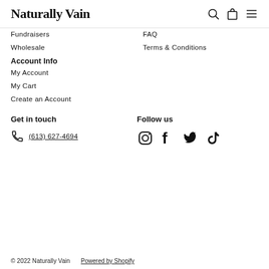Naturally Vain
Fundraisers
FAQ
Wholesale
Terms & Conditions
Account Info
My Account
My Cart
Create an Account
Get in touch
Follow us
(613) 627-4694
[Figure (infographic): Social media icons: Instagram, Facebook, Twitter, TikTok]
© 2022 Naturally Vain   Powered by Shopify